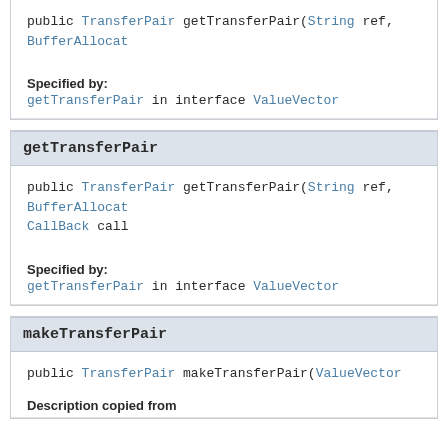getTransferPair
public TransferPair getTransferPair(String ref,
                                    BufferAllocat
Specified by:
getTransferPair in interface ValueVector
getTransferPair
public TransferPair getTransferPair(String ref,
                                    BufferAllocat
                                    CallBack call
Specified by:
getTransferPair in interface ValueVector
makeTransferPair
public TransferPair makeTransferPair(ValueVector
Description copied from